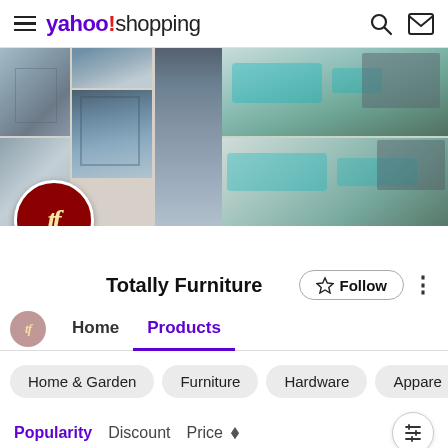yahoo!shopping
[Figure (photo): Yahoo Shopping store page banner for Totally Furniture showing collage of rugs and outdoor patio furniture with teal cushions. A dark red circular logo with stylized 'tf' in gold italic text overlaps the lower left of the banner.]
Totally Furniture
Follow
Home   Products
Home & Garden   Furniture   Hardware   Appare
Popularity   Discount   Price